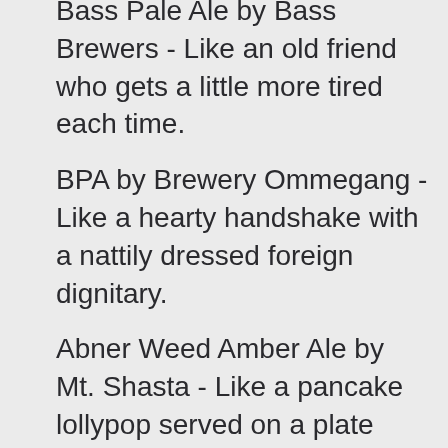Bass Pale Ale by Bass Brewers - Like an old friend who gets a little more tired each time.
BPA by Brewery Ommegang - Like a hearty handshake with a nattily dressed foreign dignitary.
Abner Weed Amber Ale by Mt. Shasta - Like a pancake lollypop served on a plate that isn't there.
Flagship Ale by Grey Sail - Like a silky pair of pants straight from the ice box.
Old Capital by Keegan Ales - Like a sad face drawn by a clown found at the bottom of a well.
Clockwork Session IPA by Relic - Like a